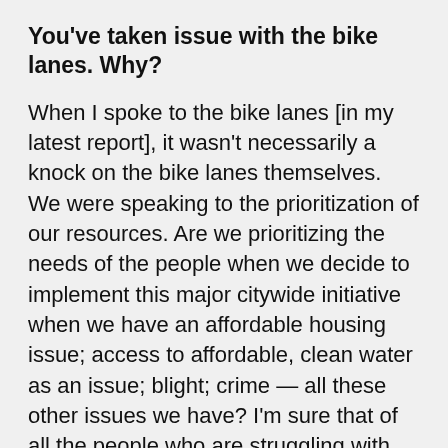You've taken issue with the bike lanes. Why?
When I spoke to the bike lanes [in my latest report], it wasn't necessarily a knock on the bike lanes themselves. We were speaking to the prioritization of our resources. Are we prioritizing the needs of the people when we decide to implement this major citywide initiative when we have an affordable housing issue; access to affordable, clean water as an issue; blight; crime — all these other issues we have? I'm sure that of all the people who are struggling with those things in their respective communities, none of them said, 'I need a bike lane, fix that.'